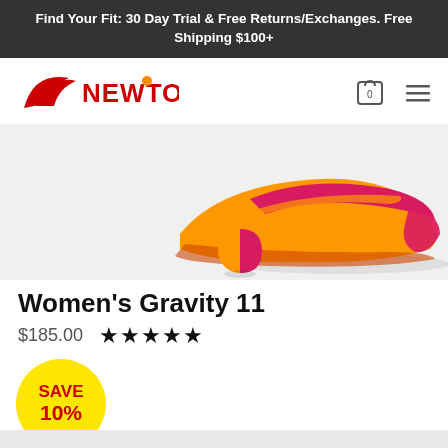Find Your Fit: 30 Day Trial & Free Returns/Exchanges. Free Shipping $100+
[Figure (logo): Newton Running logo with red swoosh and NEWTON text in red with orange dot above O]
[Figure (photo): Women's running shoe in orange and magenta/pink colors on light gray background, with a color swatch circle below]
Women's Gravity 11
$185.00  ★★★★★
SAVE 10%